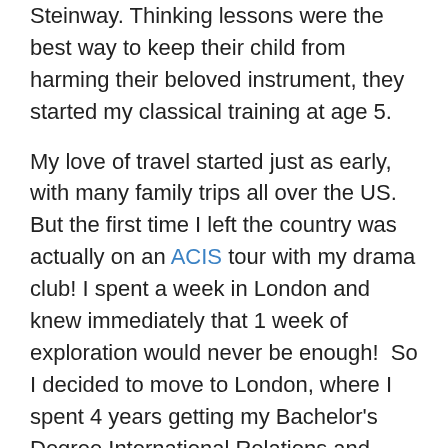Steinway. Thinking lessons were the best way to keep their child from harming their beloved instrument, they started my classical training at age 5.
My love of travel started just as early, with many family trips all over the US.   But the first time I left the country was actually on an ACIS tour with my drama club! I spent a week in London and knew immediately that 1 week of exploration would never be enough!  So I decided to move to London, where I spent 4 years getting my Bachelor's Degree International Relations and History.  I soaked up as much of the vibrant, artistic, city as I could. Plus, London provided the perfect gateway for many trips to France, Hungary, Italy, Switzerland, Turkey and Egypt. I also